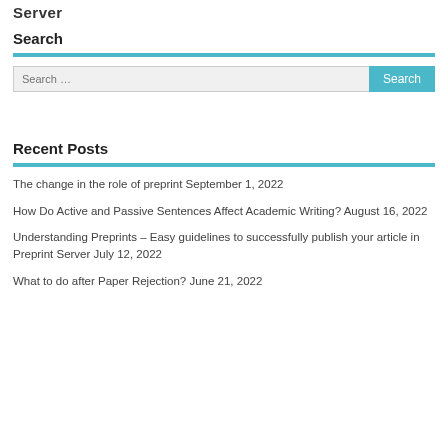Server
Search
Search …
Recent Posts
The change in the role of preprint September 1, 2022
How Do Active and Passive Sentences Affect Academic Writing? August 16, 2022
Understanding Preprints – Easy guidelines to successfully publish your article in Preprint Server July 12, 2022
What to do after Paper Rejection? June 21, 2022